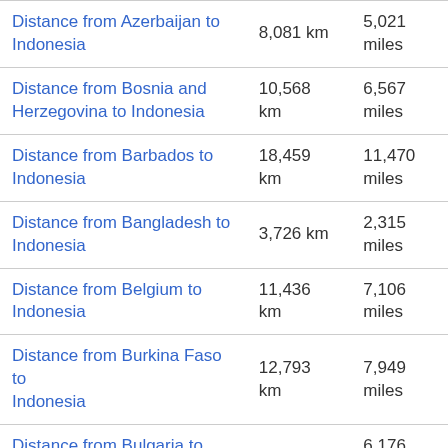| Route | km | miles |
| --- | --- | --- |
| Distance from Azerbaijan to Indonesia | 8,081 km | 5,021 miles |
| Distance from Bosnia and Herzegovina to Indonesia | 10,568 km | 6,567 miles |
| Distance from Barbados to Indonesia | 18,459 km | 11,470 miles |
| Distance from Bangladesh to Indonesia | 3,726 km | 2,315 miles |
| Distance from Belgium to Indonesia | 11,436 km | 7,106 miles |
| Distance from Burkina Faso to Indonesia | 12,793 km | 7,949 miles |
| Distance from Bulgaria to Indonesia | 9,939 km | 6,176 miles |
| (partial row) |  | 4,604 |